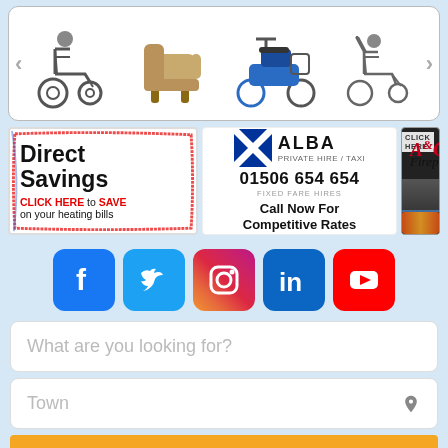[Figure (screenshot): Product carousel showing wheelchair, recliner chair, mobility scooter, and transport wheelchair with left/right navigation arrows]
[Figure (screenshot): Three advertisement banners: Direct Savings heating bills ad, ALBA Private Hire/Taxi ad with phone 01506 654 654, and A&C Fireplaces ad]
[Figure (infographic): Row of 5 social media icons: Facebook, Twitter, Instagram, LinkedIn, YouTube]
What are you looking for?
Town